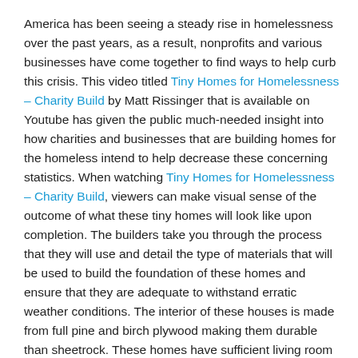America has been seeing a steady rise in homelessness over the past years, as a result, nonprofits and various businesses have come together to find ways to help curb this crisis. This video titled Tiny Homes for Homelessness – Charity Build by Matt Rissinger that is available on Youtube has given the public much-needed insight into how charities and businesses that are building homes for the homeless intend to help decrease these concerning statistics. When watching Tiny Homes for Homelessness – Charity Build, viewers can make visual sense of the outcome of what these tiny homes will look like upon completion. The builders take you through the process that they will use and detail the type of materials that will be used to build the foundation of these homes and ensure that they are adequate to withstand erratic weather conditions. The interior of these houses is made from full pine and birch plywood making them durable than sheetrock. These homes have sufficient living room space and decent sized bathroom countertops with a